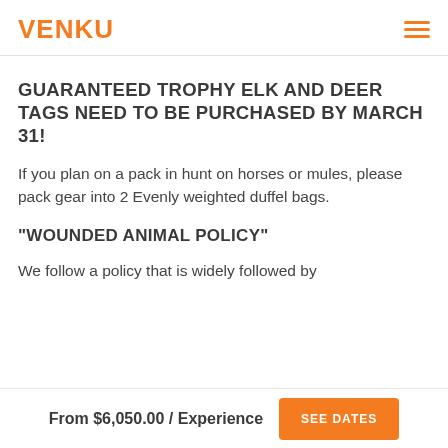VENKU
GUARANTEED TROPHY ELK AND DEER TAGS NEED TO BE PURCHASED BY MARCH 31!
If you plan on a pack in hunt on horses or mules, please pack gear into 2 Evenly weighted duffel bags.
“WOUNDED ANIMAL POLICY”
We follow a policy that is widely followed by
From $6,050.00 / Experience  SEE DATES